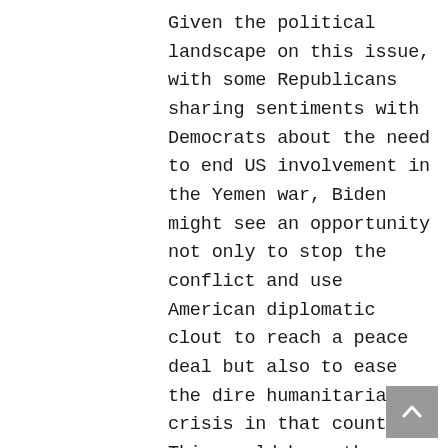Given the political landscape on this issue, with some Republicans sharing sentiments with Democrats about the need to end US involvement in the Yemen war, Biden might see an opportunity not only to stop the conflict and use American diplomatic clout to reach a peace deal but also to ease the dire humanitarian crisis in that country. This would have the effect of killing two birds with one stone: in addition to ending the Yemen conflict, he could show the progressive wing of the Democratic Party that he is striving to undo Trump's close embrace of an authoritarian regime and its disastrous war in Yemen. Given that the US Senate may remain under Republican